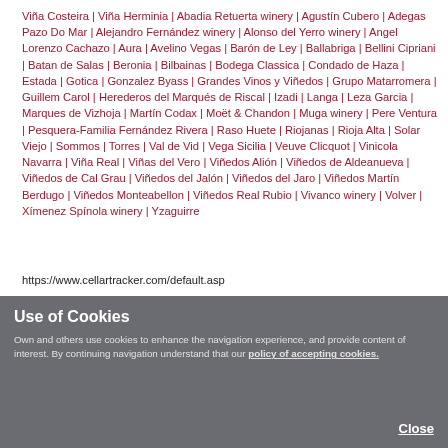Viña Costeira | Viña Herminia | Abadia Retuerta winery | Agustín Cubero | Adegas Pazo Do Mar | Alejandro Fernández winery | Alonso del Yerro winery | Angel Lorenzo Cachazo | Aura | Avelino Vegas | Barón de Ley | Ballabriga | Bellini Cipriani | Batan de Salas | Beronia | Bilbainas | Bodega Classica | Condado de Haza | Estada | Gotica | Gonzalez Byass | Grandes Vinos y Viñedos | Grupo Matarromera | Guillem Carol | Herederos del Marqués de Riscal | Izadi | Langa | Leza Garcia | Marques de Vizhoja | Martín Codax | Moët & Chandon | Muga winery | Pere Ventura | Pesquera-Familia Fernández Rivera | Raso Huete | Riojanas | Rioja Alta | Solar Viejo | Sommos | Torres | Val de Vid | Vega Sicilia | Veuve Clicquot | Vinicola Navarra | Viña Real | Viñas del Vero | Viñedos Alión | Viñedos de Aldeanueva | Viñedos de Cal Grau | Viñedos del Jalón | Viñedos del Jaro | Viñedos Martín Berdugo | Viñedos Monteabellon | Viñedos Real Rubio | Vivanco winery | Volver | Xímenez Spínola winery | Yzaguirre
https://www.cellartracker.com/default.asp
Use of Cookies
Own and others use cookies to enhance the navigation experience, and provide content of interest. By continuing navigation understand that our policy of accepting cookies.
Close